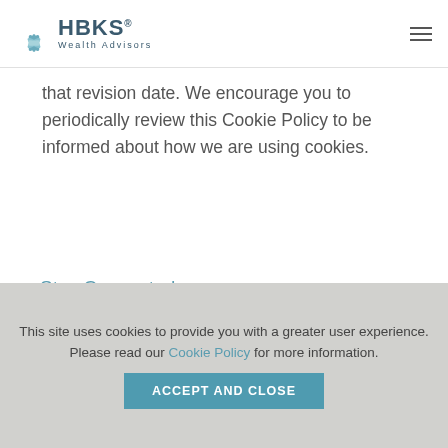[Figure (logo): HBKS Wealth Advisors logo with lotus flower icon and hamburger menu icon on right]
that revision date. We encourage you to periodically review this Cookie Policy to be informed about how we are using cookies.
Stay Connected
Receive the latest financial and investments
This site uses cookies to provide you with a greater user experience. Please read our Cookie Policy for more information.